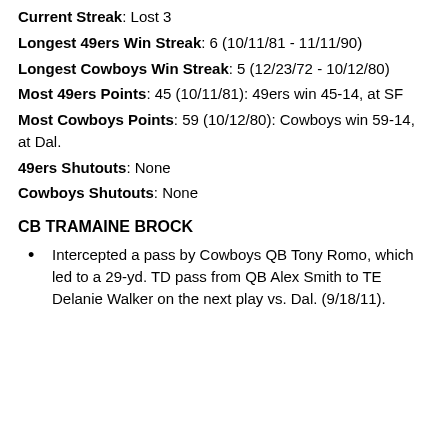Current Streak: Lost 3
Longest 49ers Win Streak: 6 (10/11/81 - 11/11/90)
Longest Cowboys Win Streak: 5 (12/23/72 - 10/12/80)
Most 49ers Points: 45 (10/11/81): 49ers win 45-14, at SF
Most Cowboys Points: 59 (10/12/80): Cowboys win 59-14, at Dal.
49ers Shutouts: None
Cowboys Shutouts: None
CB TRAMAINE BROCK
Intercepted a pass by Cowboys QB Tony Romo, which led to a 29-yd. TD pass from QB Alex Smith to TE Delanie Walker on the next play vs. Dal. (9/18/11).